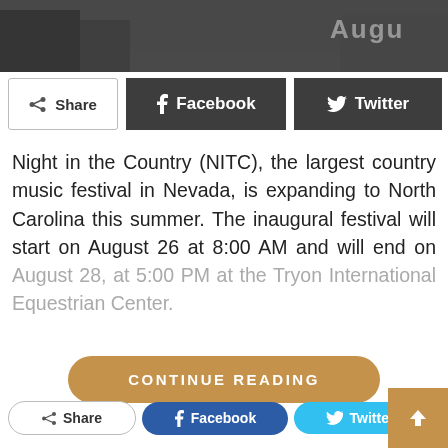[Figure (photo): A partially visible photo banner at the top with text 'AUGU...' visible, dark tones, appears to be an outdoor event scene]
[Figure (infographic): Share bar with Share, Facebook, Twitter, and + buttons (dark style)]
Night in the Country (NITC), the largest country music festival in Nevada, is expanding to North Carolina this summer. The inaugural festival will start on August 26 at 8:00 AM and will end on August 28, at 5:00 PM at the Tryon International Equestrian Center.
[Figure (infographic): CONTINUE READING button in golden/tan color with rounded pill shape]
[Figure (infographic): Bottom share bar with pill-shaped Share, Facebook (blue), Twitter (cyan), + buttons, and a tan up-arrow square button]